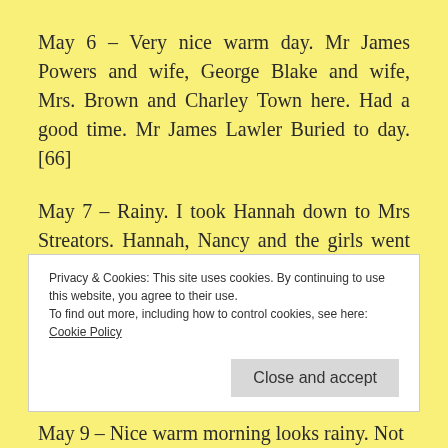May 6 – Very nice warm day. Mr James Powers and wife, George Blake and wife, Mrs. Brown and Charley Town here. Had a good time. Mr James Lawler Buried to day.[66]
May 7 – Rainy. I took Hannah down to Mrs Streators. Hannah, Nancy and the girls went home on noon train. Charley Town commenced plowing the East lot.
Privacy & Cookies: This site uses cookies. By continuing to use this website, you agree to their use.
To find out more, including how to control cookies, see here:
Cookie Policy
Close and accept
May 9 – Nice warm morning looks rainy. Not